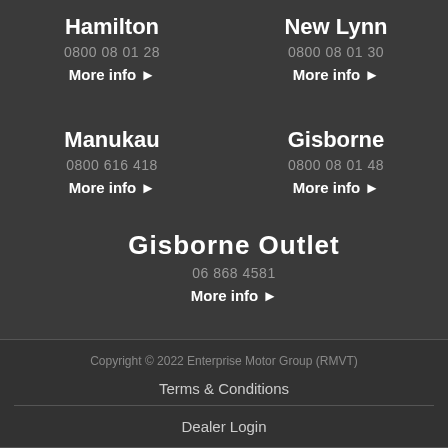Hamilton
0800 08 01 28
More info ▶
New Lynn
0800 08 01 30
More info ▶
Manukau
0800 616 418
More info ▶
Gisborne
0800 08 01 48
More info ▶
Gisborne Outlet
06 868 4581
More info ▶
Copyright © 2022 Enterprise Motor Group (RMVT)
Terms & Conditions
Dealer Login